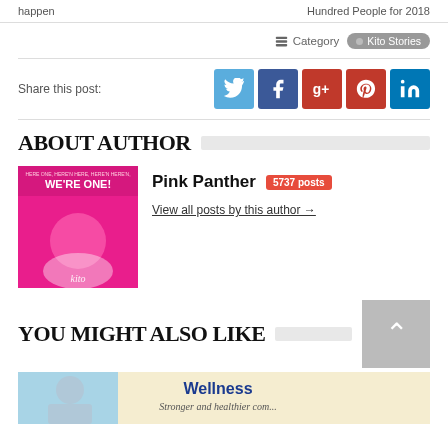happen | Hundred People for 2018
Category  Kito Stories
Share this post:
ABOUT AUTHOR
[Figure (photo): Pink Panther avatar image - cartoon pink panther on pink background]
Pink Panther 5737 posts
View all posts by this author →
YOU MIGHT ALSO LIKE
[Figure (photo): Preview image showing a person and wellness organization banner: Wellness Stronger and healthier com...]